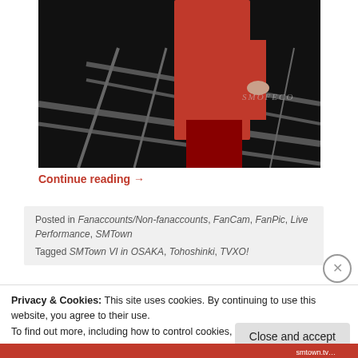[Figure (photo): Person in red suit jacket on a dark concert stage with metal railings, watermark SMOFECO visible]
Continue reading →
Posted in Fanaccounts/Non-fanaccounts, FanCam, FanPic, Live Performance, SMTown
Tagged SMTown VI in OSAKA, Tohoshinki, TVXO!
Privacy & Cookies: This site uses cookies. By continuing to use this website, you agree to their use.
To find out more, including how to control cookies, see here: Cookie Policy